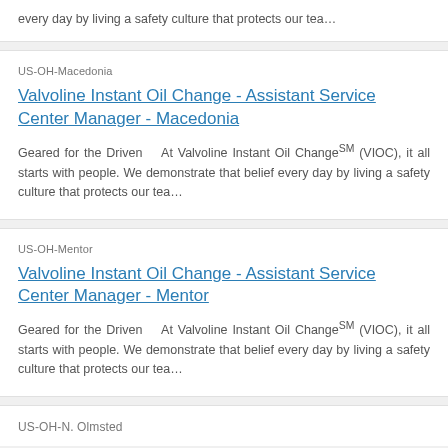every day by living a safety culture that protects our tea…
US-OH-Macedonia
Valvoline Instant Oil Change - Assistant Service Center Manager - Macedonia
Geared for the Driven   At Valvoline Instant Oil ChangeSM (VIOC), it all starts with people. We demonstrate that belief every day by living a safety culture that protects our tea…
US-OH-Mentor
Valvoline Instant Oil Change - Assistant Service Center Manager - Mentor
Geared for the Driven   At Valvoline Instant Oil ChangeSM (VIOC), it all starts with people. We demonstrate that belief every day by living a safety culture that protects our tea…
US-OH-N. Olmsted